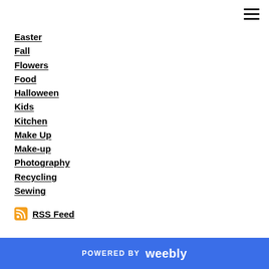Easter
Fall
Flowers
Food
Halloween
Kids
Kitchen
Make Up
Make-up
Photography
Recycling
Sewing
RSS Feed
POWERED BY weebly